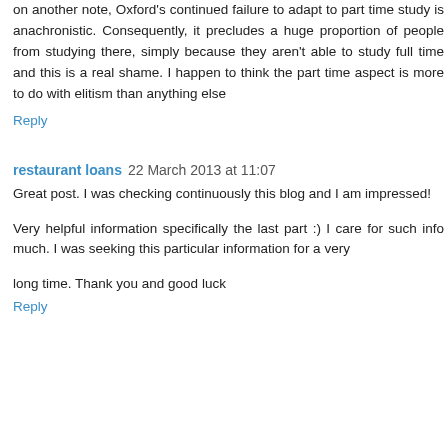on another note, Oxford's continued failure to adapt to part time study is anachronistic. Consequently, it precludes a huge proportion of people from studying there, simply because they aren't able to study full time and this is a real shame. I happen to think the part time aspect is more to do with elitism than anything else
Reply
restaurant loans  22 March 2013 at 11:07
Great post. I was checking continuously this blog and I am impressed!
Very helpful information specifically the last part :) I care for such info much. I was seeking this particular information for a very
long time. Thank you and good luck
Reply